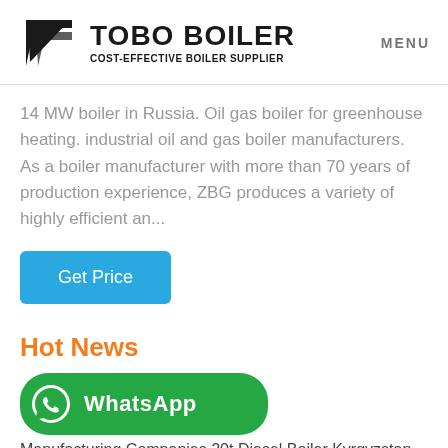TOBO BOILER — COST-EFFECTIVE BOILER SUPPLIER — MENU
14 MW boiler in Russia. Oil gas boiler for greenhouse heating. industrial oil and gas boiler manufacturers. As a boiler manufacturer with more than 70 years of production experience, ZBG produces a variety of highly efficient an...
[Figure (other): Blue 'Get Price' button]
Hot News
[Figure (other): WhatsApp green button with phone icon]
Manufacturing Companies 20t Diesel Boiler Kyrgyzstan